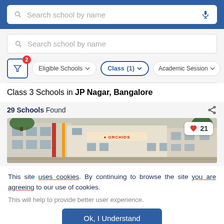[Figure (screenshot): Top blue navigation bar with search box containing placeholder text 'Search school by name' and a microphone icon]
[Figure (screenshot): Search box with placeholder text 'Search school by name']
[Figure (screenshot): Filter row with filter button showing badge '2', 'Eligible Schools' dropdown, 'Class (1)' dropdown (active/highlighted), and 'Academic Session' dropdown]
Class 3 Schools in JP Nagar, Bangalore
29 Schools Found
[Figure (photo): Photo of school building (ORCHIDS) with trees and facade visible. Heart icon with count 21 in top right corner.]
This site uses cookies. By continuing to browse the site you are agreeing to our use of cookies.
This will help to provide better user experience.
Ok, I Understand